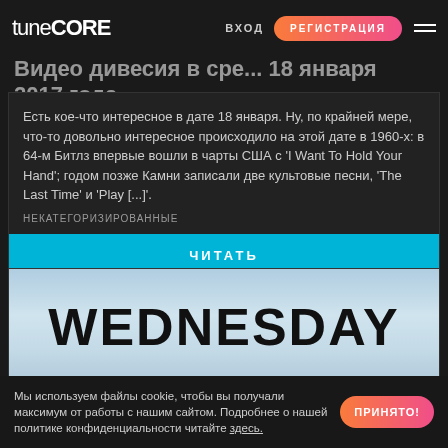tunecore | ВХОД | РЕГИСТРАЦИЯ
Видео дивесия в среда, 18 января 2017 года
Есть кое-что интересное в дате 18 января. Ну, по крайней мере, что-то довольно интересное происходило на этой дате в 1960-х: в 64-м Битлз впервые вошли в чарты США с 'I Want To Hold Your Hand'; годом позже Камни записали две культовые песни, 'The Last Time' и 'Play [...]'.
НЕКАТЕГОРИЗИРОВАННЫЕ
ЧИТАТЬ
[Figure (illustration): Sky background image with bold text WEDNESDAY overlay]
Мы используем файлы cookie, чтобы вы получали максимум от работы с нашим сайтом. Подробнее о нашей политике конфиденциальности читайте здесь.